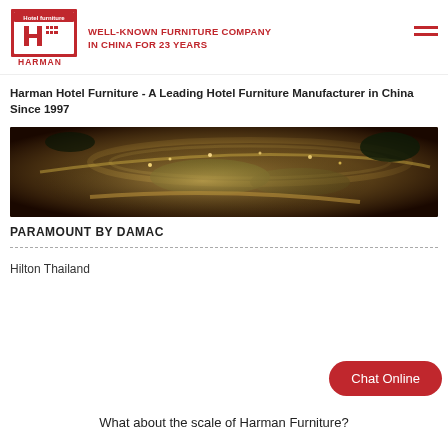[Figure (logo): Harman Hotel Furniture logo with red box and tagline: WELL-KNOWN FURNITURE COMPANY IN CHINA FOR 23 YEARS]
Harman Hotel Furniture - A Leading Hotel Furniture Manufacturer in China Since 1997
[Figure (photo): Aerial night view of a curved luxury hotel/resort building complex with greenery and roads surrounding it]
PARAMOUNT BY DAMAC
Hilton Thailand
What about the scale of Harman Furniture?